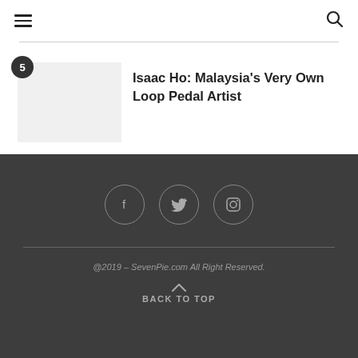≡  🔍
[Figure (illustration): Thumbnail placeholder image (light gray rectangle) with a dark circular badge showing the number 5 in the top-left corner]
Isaac Ho: Malaysia's Very Own Loop Pedal Artist
[Figure (illustration): Footer social media icons: Facebook (f), Twitter (bird), Instagram (camera outline), each inside a circle on a dark gray background]
@2019 – SevenPie.com All Right Reserved.
BACK TO TOP